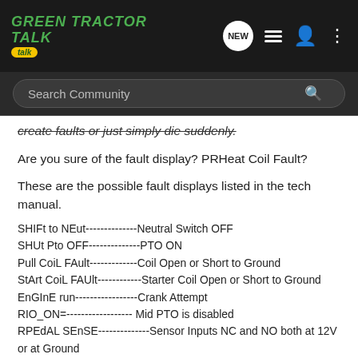Green Tractor Talk — Search Community
create faults or just simply die suddenly.
Are you sure of the fault display? PRHeat Coil Fault?
These are the possible fault displays listed in the tech manual.
SHIFt to NEut--------------Neutral Switch OFF
SHUt Pto OFF--------------PTO ON
Pull CoiL FAult-------------Coil Open or Short to Ground
StArt CoiL FAUlt------------Starter Coil Open or Short to Ground
EnGInE run-----------------Crank Attempt
RIO_ON=------------------ Mid PTO is disabled
RPEdAL SEnSE--------------Sensor Inputs NC and NO both at 12V or at Ground
PtO CoIL FAULt------------PTO Coil Open or Short to Ground
RIGht Bulb Error-----------Bulb Open